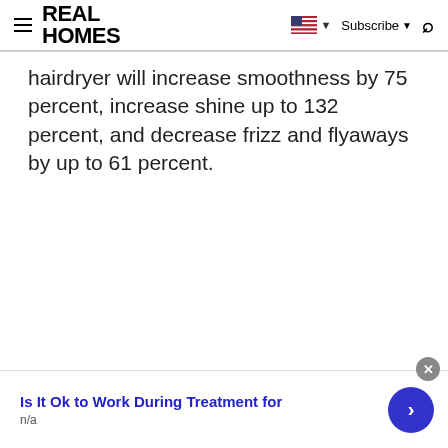REAL HOMES
hairdryer will increase smoothness by 75 percent, increase shine up to 132 percent, and decrease frizz and flyaways by up to 61 percent.
Is It Ok to Work During Treatment for
n/a